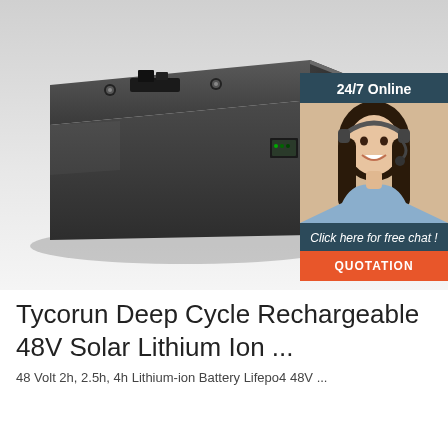[Figure (photo): A dark gray elongated rectangular lithium battery pack photographed on a light gray/white surface, shown in a 3/4 perspective view. The battery has metal connectors/terminals on top. In the upper right corner there is a customer service chat widget overlay showing '24/7 Online', a photo of a smiling woman with a headset, 'Click here for free chat!' text, and an orange 'QUOTATION' button.]
Tycorun Deep Cycle Rechargeable 48V Solar Lithium Ion ...
48 Volt 2h, 2.5h, 4h Lithium-ion Battery Lifepo4 48V ...